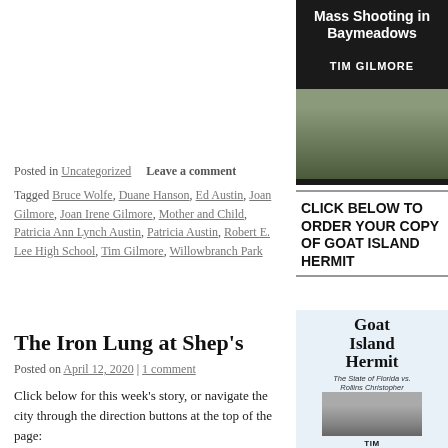[Figure (photo): Book cover showing 'Mass Shooting in Baymeadows' by Tim Gilmore, with dark background, author name, and a crowd/event photo at the bottom]
CLICK BELOW TO ORDER YOUR COPY OF GOAT ISLAND HERMIT
Posted in Uncategorized   Leave a comment
Tagged Bruce Wolfe, Duane Hanson, Ed Austin, Joan Gilmore, Joan Irene Gilmore, Mother and Child, Patricia Ann Lynch Austin, Patricia Austin, Robert E. Lee High School, Tim Gilmore, Willowbranch Park
The Iron Lung at Shep's
Posted on April 12, 2020 | 1 comment
Click below for this week's story, or navigate the city through the direction buttons at the top of the page:
[Figure (photo): Book cover for 'Goat Island Hermit: The State of Florida vs. Rollins Christopher' by Tim Gilmore, with light blue background and a black-and-white portrait photo]